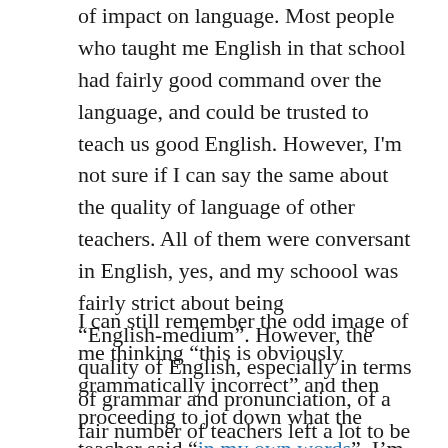of impact on language. Most people who taught me English in that school had fairly good command over the language, and could be trusted to teach us good English. However, I'm not sure if I can say the same about the quality of language of other teachers. All of them were conversant in English, yes, and my schoool was fairly strict about being “English-medium”. However, the quality of English, especially in terms of grammar and pronunciation, of a fair number of teachers left a lot to be desired.
I can still remember the odd image of me thinking “this is obviously grammatically incorrect” and then proceeding to jot down what the teacher said “in my own words”. I’m